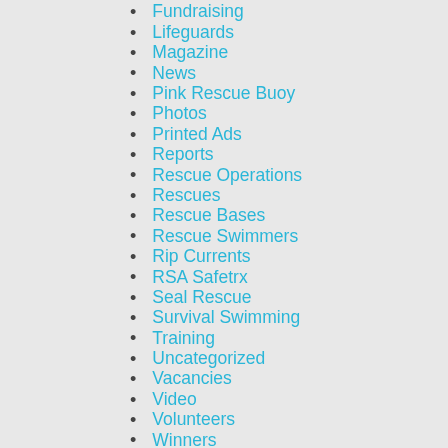Fundraising
Lifeguards
Magazine
News
Pink Rescue Buoy
Photos
Printed Ads
Reports
Rescue Operations
Rescues
Rescue Bases
Rescue Swimmers
Rip Currents
RSA Safetrx
Seal Rescue
Survival Swimming
Training
Uncategorized
Vacancies
Video
Volunteers
Winners